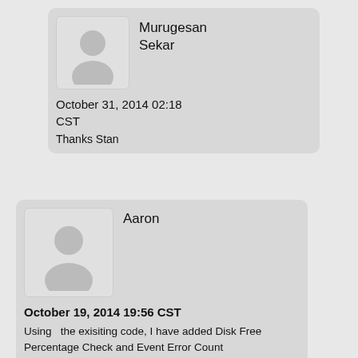[Figure (illustration): User avatar placeholder icon for Murugesan Sekar]
Murugesan Sekar
October 31, 2014 02:18 CST
Thanks Stan
[Figure (illustration): User avatar placeholder icon for Aaron]
Aaron
October 19, 2014 19:56 CST
Using the exisiting code, I have added Disk Free Percentage Check and Event Error Count

Create a New column called "DiskFree" and add the below code, I placed it under the UsedMemory
For the Event Error Counter Create a New Column called "EventErrors" and add the